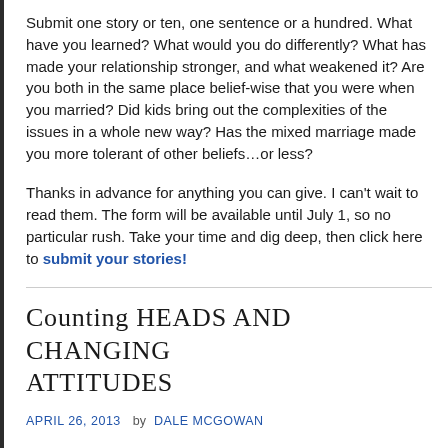Submit one story or ten, one sentence or a hundred. What have you learned? What would you do differently? What has made your relationship stronger, and what weakened it? Are you both in the same place belief-wise that you were when you married? Did kids bring out the complexities of the issues in a whole new way? Has the mixed marriage made you more tolerant of other beliefs…or less?
Thanks in advance for anything you can give. I can't wait to read them. The form will be available until July 1, so no particular rush. Take your time and dig deep, then click here to submit your stories!
Counting heads and changing attitudes
April 26, 2013  by Dale McGowan